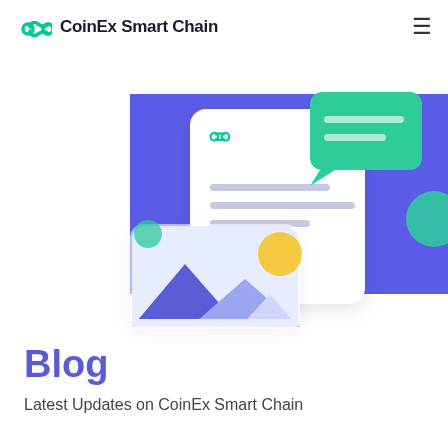CoinEx Smart Chain
[Figure (illustration): Hero illustration showing a large purple/blue circular background shape with floating UI cards: a document card with CoinEx logo and text lines, a green speech bubble chat card, an image placeholder card with mountain/landscape imagery in blue and yellow tones, and a small teal circle accent. The overall design is a modern 3D-style isometric illustration.]
Blog
Latest Updates on CoinEx Smart Chain